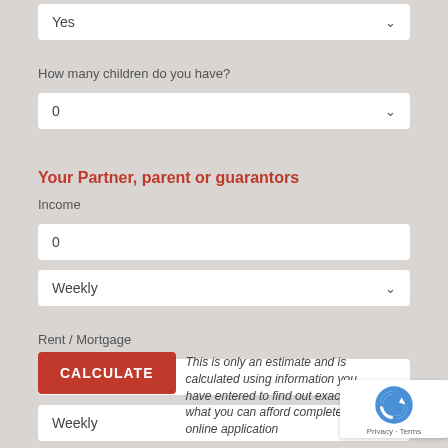Yes (dropdown)
How many children do you have?
0 (dropdown)
Your Partner, parent or guarantors
Income
0 (input)
Weekly (dropdown)
Rent / Mortgage
0 (input)
Weekly (dropdown)
CALCULATE
This is only an estimate and is calculated using information you have entered to find out exactly what you can afford complete our online application